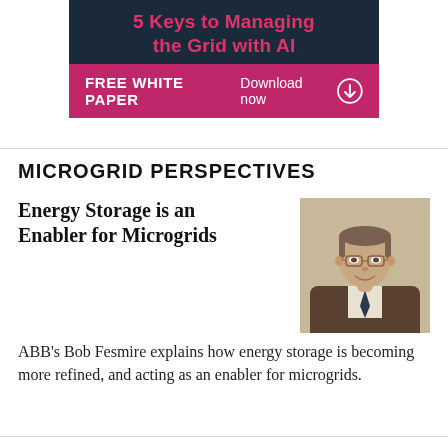[Figure (other): Advertisement banner for a white paper titled '5 Keys to Managing the Grid with AI' with a dark navy background, pink/magenta title text, and a purple/pink strip at bottom reading 'FREE WHITE PAPER Download now']
MICROGRID PERSPECTIVES
Energy Storage is an Enabler for Microgrids
[Figure (photo): Headshot of Bob Fesmire, a middle-aged man with glasses wearing a brown jacket and tie, smiling]
ABB's Bob Fesmire explains how energy storage is becoming more refined, and acting as an enabler for microgrids.